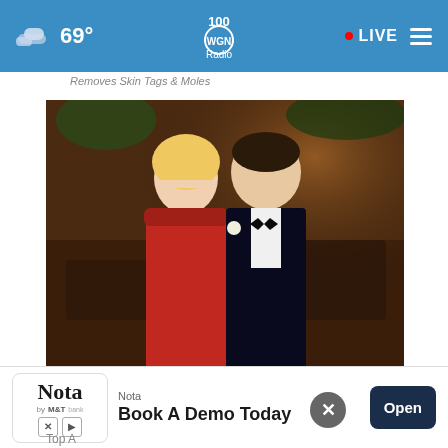69° WGN Radio LIVE
Removes Skin Tags & Moles
[Figure (photo): A couple at a formal event. A blonde woman in a red strapless dress and a man in a dark tuxedo with bow tie and white flower boutonniere, posing together in a banquet hall.]
The Most Successful Attorneys in Ashburnee the list...
Top A...
[Figure (other): Nota app advertisement banner: 'Nota - Book A Demo Today' with an Open button]